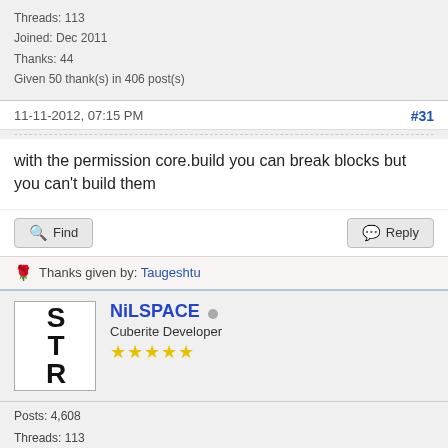Threads: 113
Joined: Dec 2011
Thanks: 44
Given 50 thank(s) in 406 post(s)
11-11-2012, 07:15 PM    #31
with the permission core.build you can break blocks but you can't build them
🌹 Thanks given by: Taugeshtu
NiLSPACE
Cuberite Developer
★★★★★
Posts: 4,608
Threads: 113
Joined: Dec 2011
Thanks: 44
Given 50 thank(s) in 406 post(s)
11-12-2012, 03:26 AM    #32